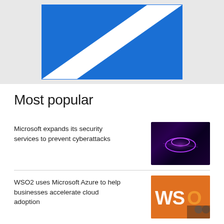[Figure (illustration): Blue and white geometric abstract image inside a bordered frame on a grey background]
Most popular
Microsoft expands its security services to prevent cyberattacks
[Figure (photo): Dark image of a glowing purple cloud icon suggesting cybersecurity]
WSO2 uses Microsoft Azure to help businesses accelerate cloud adoption
[Figure (photo): Photo showing WSO2 branding with orange colors and two men]